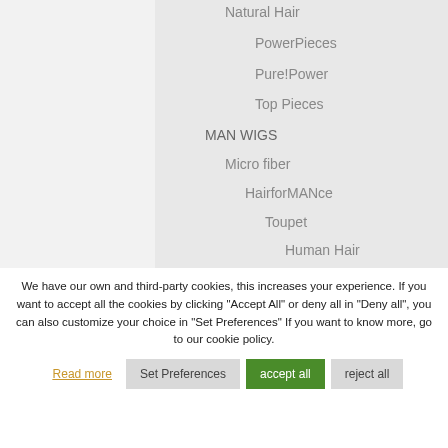Natural Hair
PowerPieces
Pure!Power
Top Pieces
MAN WIGS
Micro fiber
HairforMANce
Toupet
Human Hair
We have our own and third-party cookies, this increases your experience.  If you want to accept all the cookies by clicking "Accept All" or deny all in "Deny all", you can also customize your choice in "Set Preferences"  If you want to know more, go to our cookie policy.
Read more
Set Preferences
accept all
reject all